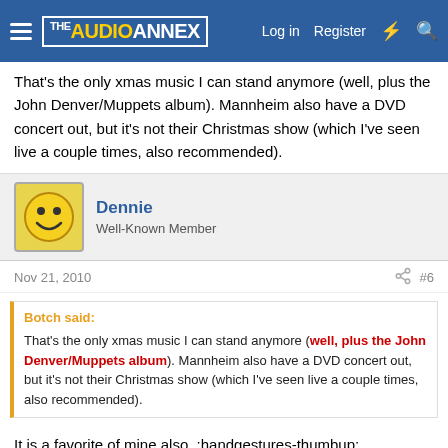THE AUDIO ANNEX — Log in  Register
That's the only xmas music I can stand anymore (well, plus the John Denver/Muppets album). Mannheim also have a DVD concert out, but it's not their Christmas show (which I've seen live a couple times, also recommended).
Dennie
Well-Known Member
Nov 21, 2010  #6
Botch said:
That's the only xmas music I can stand anymore (well, plus the John Denver/Muppets album). Mannheim also have a DVD concert out, but it's not their Christmas show (which I've seen live a couple times, also recommended).
It is a favorite of mine also. :handgestures-thumbup: